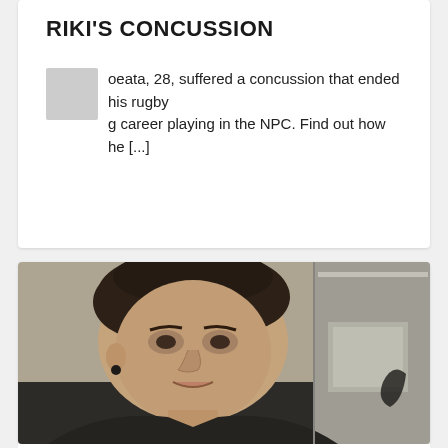RIKI'S CONCUSSION
Riki Poeata, 28, suffered a concussion that ended his rugby league career playing in the NPC. Find out how he [...]
[Figure (photo): Portrait photo of a young man with dark hair, wearing a dark shirt, smiling slightly, with an earring, photographed indoors with a blurred background showing a window and decorative items.]